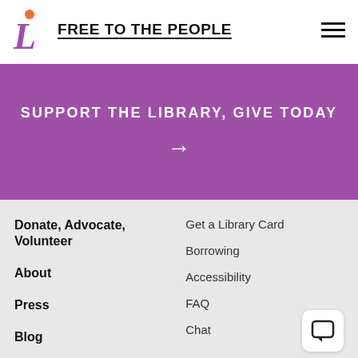FREE TO THE PEOPLE
SUPPORT THE LIBRARY, GIVE TODAY
Donate, Advocate, Volunteer
About
Press
Blog
Get a Library Card
Borrowing
Accessibility
FAQ
Chat